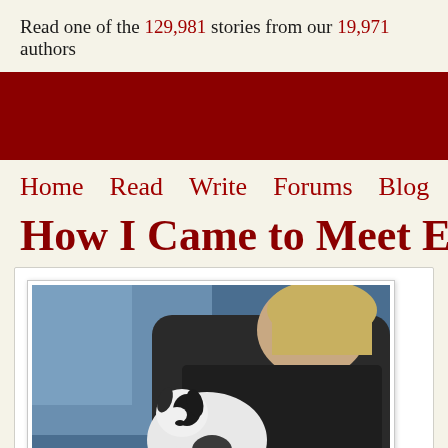Read one of the 129,981 stories from our 19,971 authors
[Figure (other): Dark red banner/header area of a website]
Home   Read   Write   Forums   Blog
How I Came to Meet Er
[Figure (photo): A person holding a black and white puppy/dog, photographed indoors with a blue background]
By marandina